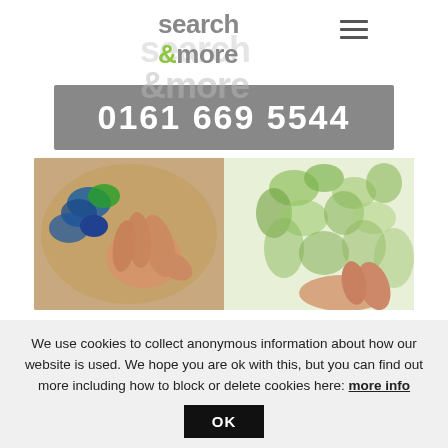[Figure (logo): Search & More company logo with hamburger menu icon]
0161 669 5544
[Figure (photo): Close-up photo of a hand holding a paint palette with colorful paints and a watercolor painting of green leaves/plants in the background]
We use cookies to collect anonymous information about how our website is used. We hope you are ok with this, but you can find out more including how to block or delete cookies here: more info
OK